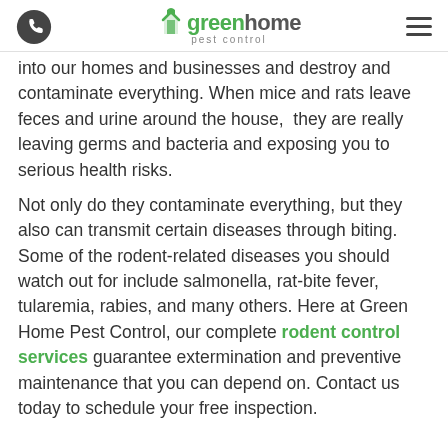Green Home Pest Control
into our homes and businesses and destroy and contaminate everything. When mice and rats leave feces and urine around the house,  they are really leaving germs and bacteria and exposing you to serious health risks.
Not only do they contaminate everything, but they also can transmit certain diseases through biting. Some of the rodent-related diseases you should watch out for include salmonella, rat-bite fever, tularemia, rabies, and many others. Here at Green Home Pest Control, our complete rodent control services guarantee extermination and preventive maintenance that you can depend on. Contact us today to schedule your free inspection.